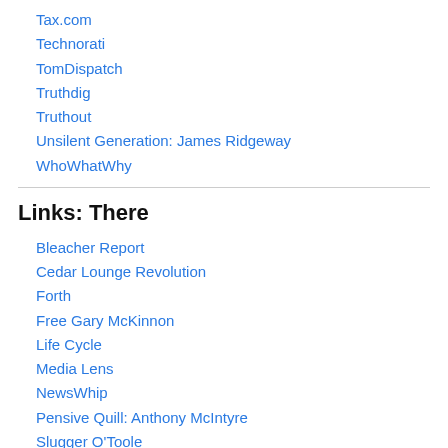Tax.com
Technorati
TomDispatch
Truthdig
Truthout
Unsilent Generation: James Ridgeway
WhoWhatWhy
Links: There
Bleacher Report
Cedar Lounge Revolution
Forth
Free Gary McKinnon
Life Cycle
Media Lens
NewsWhip
Pensive Quill: Anthony McIntyre
Slugger O'Toole